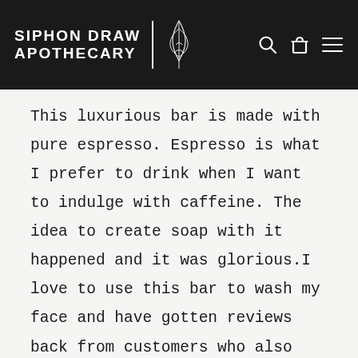SIPHON DRAW APOTHECARY
This luxurious bar is made with pure espresso. Espresso is what I prefer to drink when I want to indulge with caffeine. The idea to create soap with it happened and it was glorious.I love to use this bar to wash my face and have gotten reviews back from customers who also love using it for their face bar. All of my soaps are very special to me but this one is one of my personal favorites. No need to add essential oils. The natural ingredients create much of the smell